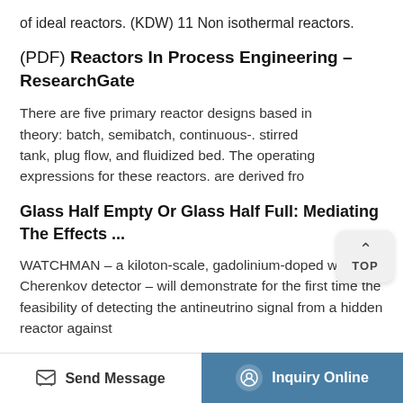of ideal reactors. (KDW) 11 Non isothermal reactors.
(PDF) Reactors In Process Engineering - ResearchGate
There are five primary reactor designs based in theory: batch, semibatch, continuous-. stirred tank, plug flow, and fluidized bed. The operating expressions for these reactors. are derived fro
Glass Half Empty Or Glass Half Full: Mediating The Effects ...
WATCHMAN - a kiloton-scale, gadolinium-doped water Cherenkov detector - will demonstrate for the first time the feasibility of detecting the antineutrino signal from a hidden reactor against
Send Message   Inquiry Online